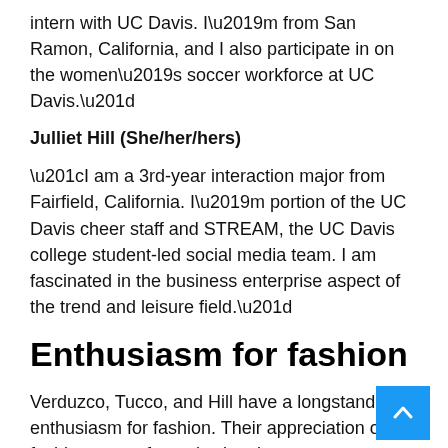intern with UC Davis. I’m from San Ramon, California, and I also participate in on the women’s soccer workforce at UC Davis.”
Julliet Hill (She/her/hers)
“I am a 3rd-year interaction major from Fairfield, California. I’m portion of the UC Davis cheer staff and STREAM, the UC Davis college student-led social media team. I am fascinated in the business enterprise aspect of the trend and leisure field.”
Enthusiasm for fashion
Verduzco, Tucco, and Hill have a longstanding enthusiasm for fashion. Their appreciation of fashion stems from viewing the art sort as a strong means of self-expression, and as a industry that...